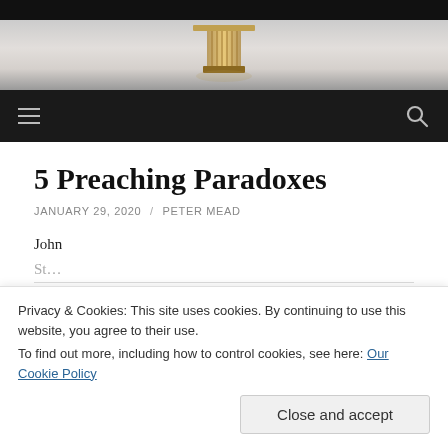[Figure (photo): Website header image showing a podium/lectern on a grey background with black bar at top]
Navigation bar with hamburger menu and search icon
5 Preaching Paradoxes
JANUARY 29, 2020 / PETER MEAD
John
Privacy & Cookies: This site uses cookies. By continuing to use this website, you agree to their use.
To find out more, including how to control cookies, see here: Our Cookie Policy
Close and accept
comments are mine: